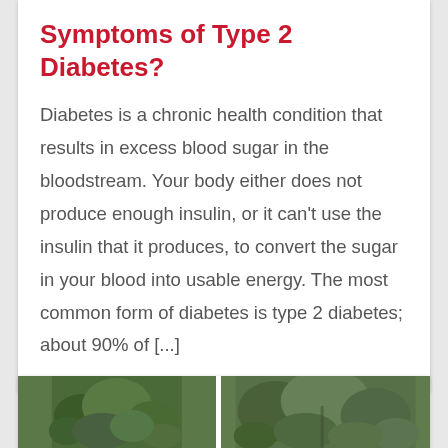Symptoms of Type 2 Diabetes?
Diabetes is a chronic health condition that results in excess blood sugar in the bloodstream. Your body either does not produce enough insulin, or it can't use the insulin that it produces, to convert the sugar in your blood into usable energy. The most common form of diabetes is type 2 diabetes; about 90% of [...]
[Figure (photo): Two photos of outdoor foliage/trees side by side at the bottom of the page]